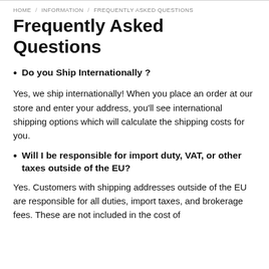HOME / INFORMATION / FREQUENTLY ASKED QUESTIONS
Frequently Asked Questions
Do you Ship Internationally ?
Yes, we ship internationally! When you place an order at our store and enter your address, you'll see international shipping options which will calculate the shipping costs for you.
Will I be responsible for import duty, VAT, or other taxes outside of the EU?
Yes. Customers with shipping addresses outside of the EU are responsible for all duties, import taxes, and brokerage fees. These are not included in the cost of